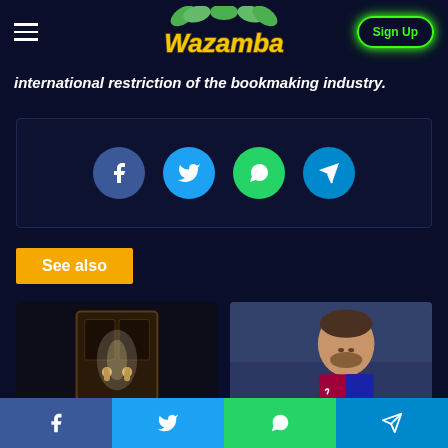Wazamba — Sign Up
international restriction of the bookmaking industry.
[Figure (infographic): Share buttons row: Facebook (blue circle), Twitter (light blue circle), WhatsApp (green circle), Telegram (teal circle)]
See also
[Figure (photo): Photo of ornate door handle with dramatic light]
[Figure (photo): Photo of Lionel Messi in FC Barcelona kit]
[Figure (infographic): Bottom share bar: Facebook, Twitter, WhatsApp, Telegram buttons]